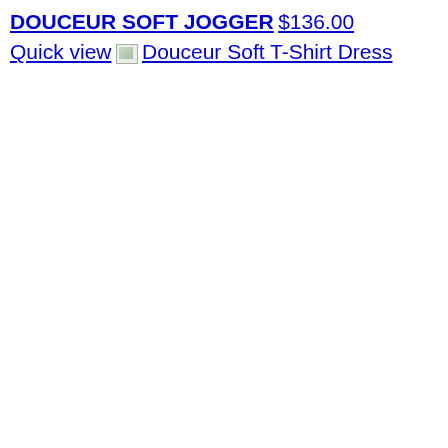DOUCEUR SOFT JOGGER
$136.00
Quick view
[Figure (other): Broken image thumbnail link for Douceur Soft T-Shirt Dress product]